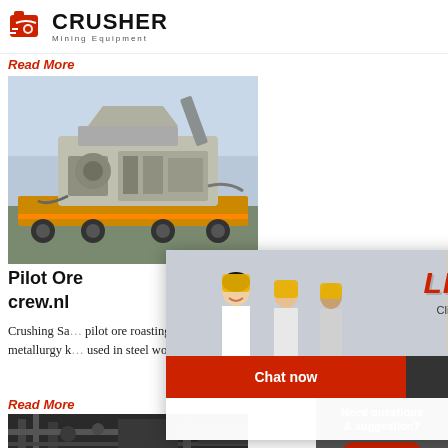[Figure (logo): Crusher Mining Equipment logo with red bag icon and bold CRUSHER text]
Read More
[Figure (photo): Photograph of a large industrial crushing machine on a flatbed, outdoors]
Pilot Ore
crew.nl
Crushing Sa... pilot ore roasting kiln for sale used horizontal ro... sale rotary kilncement rotary kilnclinker rotary ... commonly known as the rotary kiln metallurgy k... used in steel works in the metallurgy industry fo... magnetizing roasting of poor iron ore. Read Mor...
Read More
[Figure (photo): Bottom photo showing industrial piping/machinery in dark tones]
[Figure (screenshot): Live Chat popup overlay with workers in hard hats, LIVE CHAT heading, 'Click for a Free Consultation', Chat now and Chat later buttons]
24Hrs Online
[Figure (photo): Sidebar photo of woman with headset smiling]
Need questions & suggestion?
Chat Now
Enquiry
limingjlmofen@sina.com